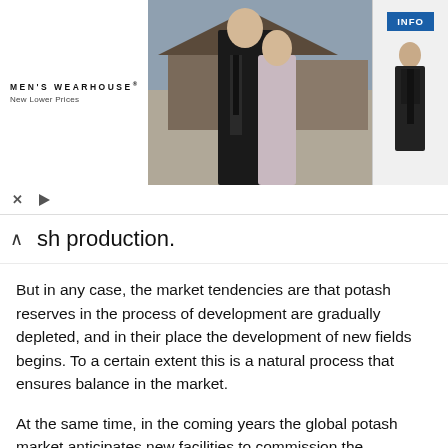[Figure (photo): Men's Wearhouse advertisement banner showing a couple (man in dark suit with woman in formal dress) and a man in a suit on the right side, with an INFO button]
sh production.
But in any case, the market tendencies are that potash reserves in the process of development are gradually depleted, and in their place the development of new fields begins. To a certain extent this is a natural process that ensures balance in the market.
At the same time, in the coming years the global potash market anticipates new facilities to commission the production fertilizers, which will lead to a serious intensification of competition. It is expected that the Legacy project (Canada) by German producer K + S will